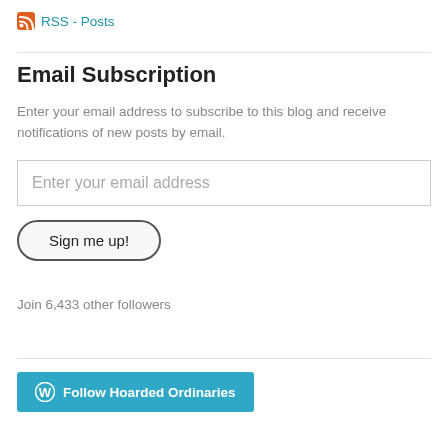RSS - Posts
Email Subscription
Enter your email address to subscribe to this blog and receive notifications of new posts by email.
Enter your email address
Sign me up!
Join 6,433 other followers
Follow Hoarded Ordinaries